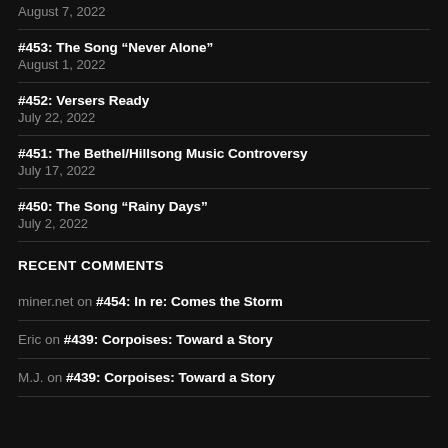August 7, 2022
#453: The Song “Never Alone”
August 1, 2022
#452: Versers Ready
July 22, 2022
#451: The Bethel/Hillsong Music Controversy
July 17, 2022
#450: The Song “Rainy Days”
July 2, 2022
RECENT COMMENTS
miner.net on #454: In re: Comes the Storm
Eric on #439: Corpoises: Toward a Story
M.J. on #439: Corpoises: Toward a Story